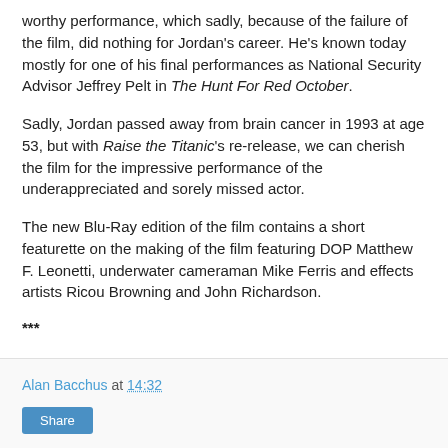worthy performance, which sadly, because of the failure of the film, did nothing for Jordan's career. He's known today mostly for one of his final performances as National Security Advisor Jeffrey Pelt in The Hunt For Red October.
Sadly, Jordan passed away from brain cancer in 1993 at age 53, but with Raise the Titanic's re-release, we can cherish the film for the impressive performance of the underappreciated and sorely missed actor.
The new Blu-Ray edition of the film contains a short featurette on the making of the film featuring DOP Matthew F. Leonetti, underwater cameraman Mike Ferris and effects artists Ricou Browning and John Richardson.
***
Alan Bacchus at 14:32 | Share